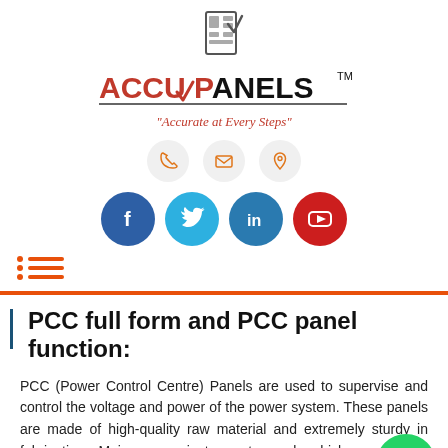[Figure (logo): Accu Panels logo with panel icon, brand name 'ACCU PANELS' with TM mark, and tagline 'Accurate at Every Steps']
[Figure (infographic): Three circular contact icons (phone, email, location) in light grey, followed by four social media circles: Facebook (dark blue), Twitter (light blue), LinkedIn (teal blue), YouTube (red)]
[Figure (infographic): Hamburger menu icon with orange lines]
PCC full form and PCC panel function:
PCC (Power Control Centre) Panels are used to supervise and control the voltage and power of the power system. These panels are made of high-quality raw material and extremely sturdy in fabrication. Main power instrument panel, which consists of feeder breakers and